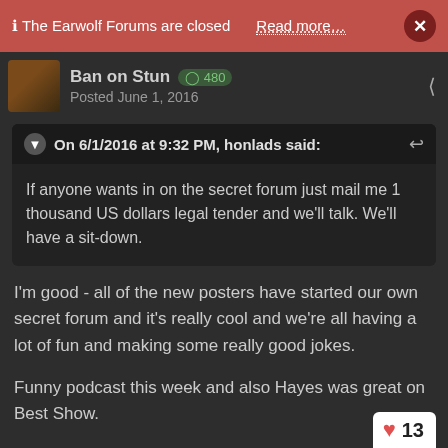ℹ The Earwolf Forums are closed   Read more…   ×
Ban on Stun  ◯ 480
Posted June 1, 2016
On 6/1/2016 at 9:32 PM, honlads said:
If anyone wants in on the secret forum just mail me 1 thousand US dollars legal tender and we'll talk. We'll have a sit-down.
I'm good - all of the new posters have started our own secret forum and it's really cool and we're all having a lot of fun and making some really good jokes.
Funny podcast this week and also Hayes was great on Best Show.